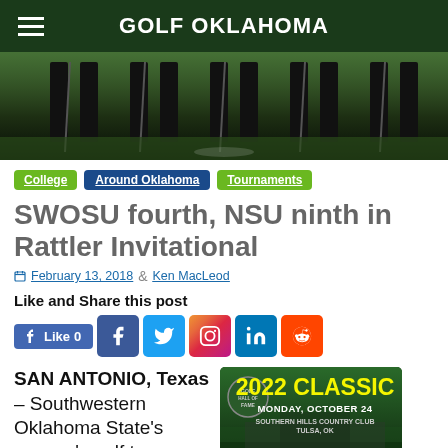GOLF OKLAHOMA
[Figure (photo): Cropped photo showing legs and golf bags of several golfers standing on a golf course]
College | Around Oklahoma | Tournaments
SWOSU fourth, NSU ninth in Rattler Invitational
February 13, 2018 by Ken MacLeod
Like and Share this post
[Figure (screenshot): Social sharing buttons: Like 0, Facebook, Twitter, Instagram, LinkedIn, Reddit]
SAN ANTONIO, Texas – Southwestern Oklahoma State's women's golf team
[Figure (infographic): 2022 Classic advertisement: Monday, October 24, Southern Hills Country Club, Tulsa, OK]